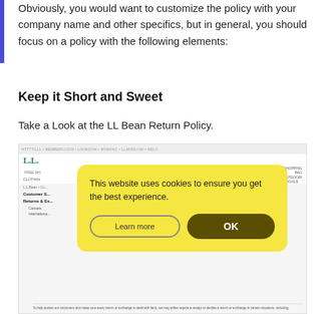Obviously, you would want to customize the policy with your company name and other specifics, but in general, you should focus on a policy with the following elements:
Keep it Short and Sweet
Take a Look at the LL Bean Return Policy.
[Figure (screenshot): Screenshot of the LL Bean website showing the Customer Service / Returns & Exchanges section, partially obscured by a cookie consent popup.]
This website uses cookies to ensure you get the best experience.
Learn more
OK